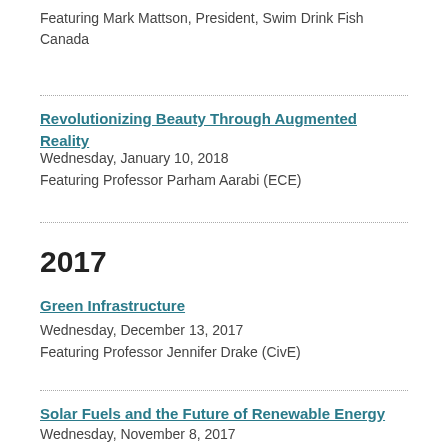Featuring Mark Mattson, President, Swim Drink Fish Canada
Revolutionizing Beauty Through Augmented Reality
Wednesday, January 10, 2018
Featuring Professor Parham Aarabi (ECE)
2017
Green Infrastructure
Wednesday, December 13, 2017
Featuring Professor Jennifer Drake (CivE)
Solar Fuels and the Future of Renewable Energy
Wednesday, November 8, 2017
Featuring Phil Deluna (MSE PhD Candidate)